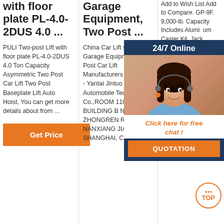with floor plate PL-4.0-2DUS 4.0 ...
PULI Two-post Lift with floor plate PL-4.0-2DUS 4.0 Ton Capacity Asymmetric Two Post Car Lift Two Post Baseplate Lift Auto Hoist, You can get more details about from ...
Get Price
Garage Equipment, Two Post ...
China Car Lift supplier, Garage Equipment, Two Post Car Lift Manufacturers Suppliers - Yantai Jintuo Automobile Technology Co.,ROOM 1101 BUILDING B NO.399 ZHONGREN ROAD. NANXIANG JIADING SHANGHAI, CHINA
Add to Wish List Add to Compare. GP-9F. 9,000-lb. Capacity Includes Aluminum Caster Kit, Jack Platform and Drip Trays. View Details. Add to Wish List Add to Compare. 9XLT. 9,000-lb. Capacity Extended Width Includes Aluminum Caster Kit, Jack Platform and Drip Trays. $6,695.00.
Get Price
[Figure (other): 24/7 Online chat overlay with agent photo, 'Click here for free chat!' message, and QUOTATION button]
[Figure (logo): TOP badge/logo in orange and white]